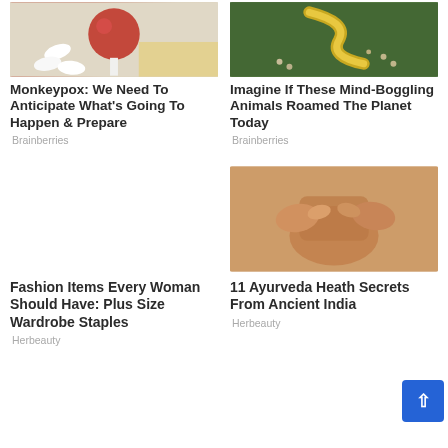[Figure (photo): Close-up of a red lollipop or candy with white background — monkeypox article image]
[Figure (photo): Aerial view of a large golden snake sculpture with people around it]
Monkeypox: We Need To Anticipate What's Going To Happen & Prepare
Brainberries
Imagine If These Mind-Boggling Animals Roamed The Planet Today
Brainberries
[Figure (photo): Close-up of hands shaping clay pottery — Ayurveda article image]
Fashion Items Every Woman Should Have: Plus Size Wardrobe Staples
Herbeauty
11 Ayurveda Heath Secrets From Ancient India
Herbeauty